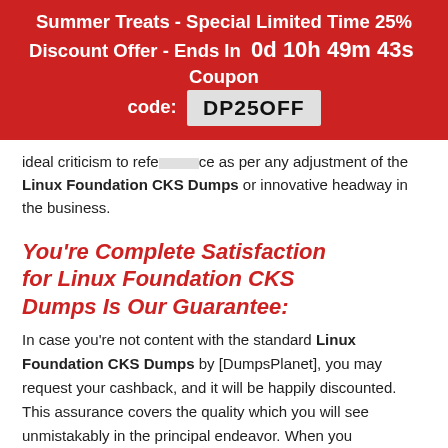Summer Treats - Special Limited Time 25% Discount Offer - Ends In 0d 10h 49m 43s Coupon code: DP25OFF
ideal criticism to refe... ce as per any adjustment of the Linux Foundation CKS Dumps or innovative headway in the business.
You're Complete Satisfaction for Linux Foundation CKS Dumps Is Our Guarantee:
In case you're not content with the standard Linux Foundation CKS Dumps by [DumpsPlanet], you may request your cashback, and it will be happily discounted. This assurance covers the quality which you will see unmistakably in the principal endeavor. When you